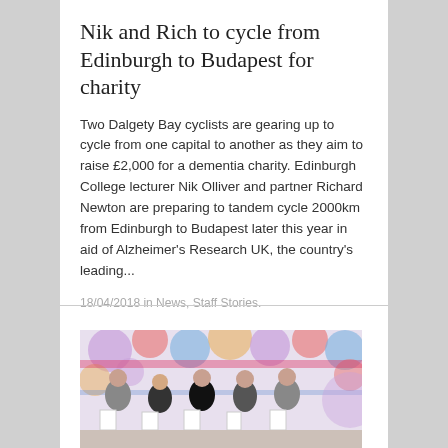Nik and Rich to cycle from Edinburgh to Budapest for charity
Two Dalgety Bay cyclists are gearing up to cycle from one capital to another as they aim to raise £2,000 for a dementia charity. Edinburgh College lecturer Nik Olliver and partner Richard Newton are preparing to tandem cycle 2000km from Edinburgh to Budapest later this year in aid of Alzheimer's Research UK, the country's leading...
18/04/2018 in News, Staff Stories.
[Figure (photo): Group photo of five people standing in front of a colourful awards event backdrop, each holding certificates or awards.]